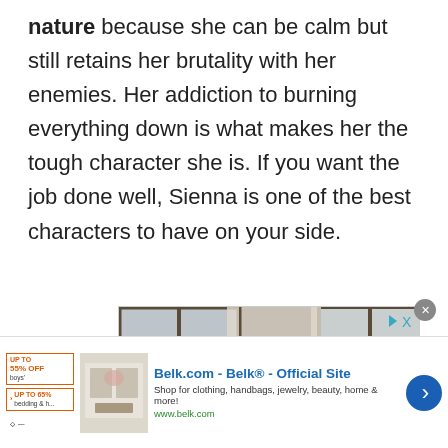nature because she can be calm but still retains her brutality with her enemies. Her addiction to burning everything down is what makes her the tough character she is. If you want the job done well, Sienna is one of the best characters to have on your side.
[Figure (photo): Advertisement image showing a dining room with chairs around a table, windows in the background, and a floral centerpiece. Overlaid with a play/close ad control icon in the top right corner.]
[Figure (photo): Bottom banner advertisement for Belk.com - Belk® - Official Site. Shows promotional offers on left, a thumbnail image, ad text reading 'Shop for clothing, handbags, jewelry, beauty, home & more!' with URL www.belk.com, and a blue circular arrow button.]